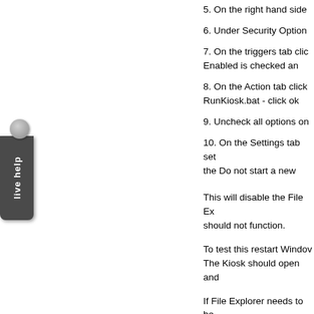5. On the right hand side
6. Under Security Option
7. On the triggers tab click Enabled is checked an
8. On the Action tab click RunKiosk.bat - click ok
9. Uncheck all options on
10. On the Settings tab set the Do not start a new
This will disable the File Ex should not function.
To test this restart Windo The Kiosk should open and
If File Explorer needs to be then go to File->Run new T also run the Kiosk) or run a